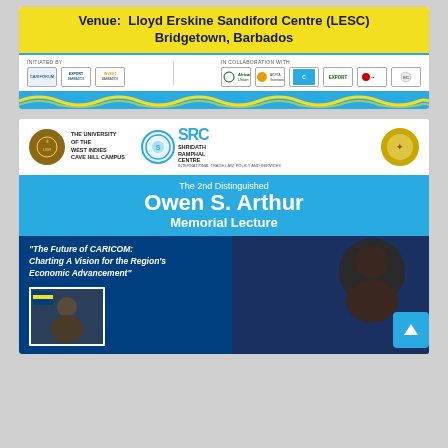[Figure (infographic): Event banner top card showing venue: Lloyd Erskine Sandiford Centre (LESC), Bridgetown, Barbados. Features logos of initiating and collaborating organizations including Export Barbados, Invest Barbados, African Union, AfCFTA Secretariat, and others. Has a teal/yellow wave decoration at the bottom.]
[Figure (infographic): The 2nd Distinguished Owen S. Arthur Memorial Lecture event poster. University of the West Indies Cave Hill Campus, SRC Shridath Ramphal Centre logos at top. Blue band: 'The 2nd Distinguished Owen S. Arthur Memorial Lecture'. Dark blue section with italic text: 'The Future of CARICOM: Charting A Vision for the Region's Economic Advancement'. Shows photo of a woman speaker and a portrait of Owen S. Arthur.]